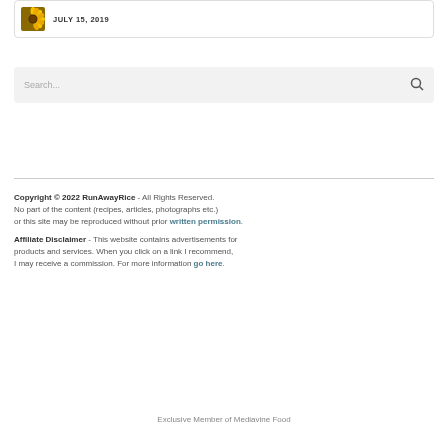[Figure (photo): Small thumbnail image of a sunflower, yellow and orange, in a card box]
JULY 15, 2019
Search...
Copyright © 2022 RunAwayRice - All Rights Reserved.
No part of the content (recipes, articles, photographs etc.)
or this site may be reproduced without prior written permission.
Affiliate Disclaimer - This website contains advertisements for products and services. When you click on a link I recommend, I may receive a commission. For more information go here.
Exclusive Member of Mediavine Food